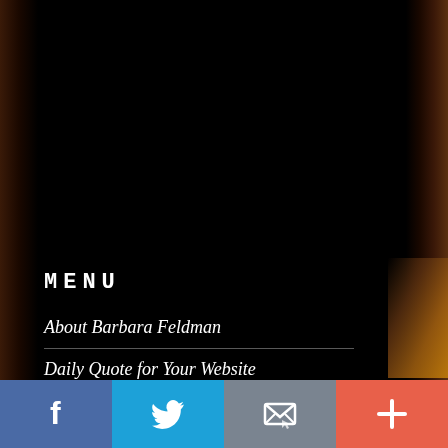[Figure (photo): Dark background with warm amber/orange side lighting strips suggesting a nighttime outdoor scene with a lit building or torch at lower right]
MENU
About Barbara Feldman
Daily Quote for Your Website
Daily Quote Newsletter
[Figure (infographic): Social media bottom bar with Facebook (blue), Twitter (blue), Email (gray), and Plus/More (coral-red) buttons]